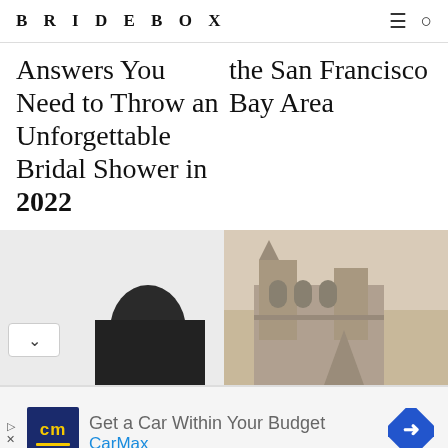BRIDEBOX
Answers You Need to Throw an Unforgettable Bridal Shower in 2022
the San Francisco Bay Area
[Figure (photo): Black and white photo of a woman with dark hair from behind, light background]
[Figure (photo): Sepia-toned photo of a large stone church or cathedral building with arched windows and a pointed steeple]
Get a Car Within Your Budget CarMax